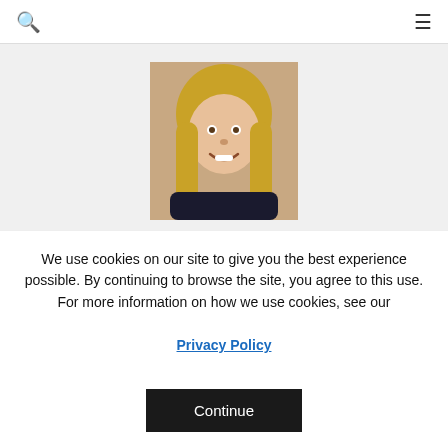🔍  ☰
[Figure (photo): Headshot photo of Rachel Krider, a woman with long blond hair, smiling, wearing a dark top, photographed outdoors.]
Rachel Krider ↗
Rachel Krider is a personal development coach and a founder of Prosperity of Life.
[Figure (illustration): Twitter bird icon (social media link)]
We use cookies on our site to give you the best experience possible. By continuing to browse the site, you agree to this use. For more information on how we use cookies, see our Privacy Policy
Continue